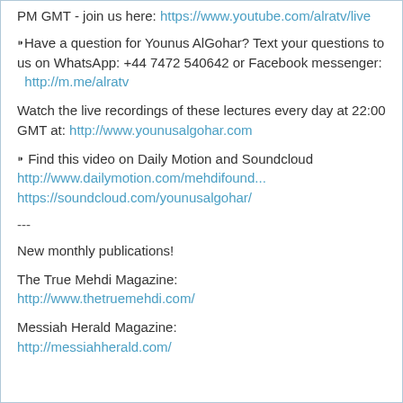PM GMT - join us here: https://www.youtube.com/alratv/live
⁍Have a question for Younus AlGohar? Text your questions to us on WhatsApp: +44 7472 540642 or Facebook messenger:  http://m.me/alratv
Watch the live recordings of these lectures every day at 22:00 GMT at: http://www.younusalgohar.com
⁍ Find this video on Daily Motion and Soundcloud
http://www.dailymotion.com/mehdifound...
https://soundcloud.com/younusalgohar/
---
New monthly publications!
The True Mehdi Magazine:
http://www.thetruemehdi.com/
Messiah Herald Magazine:
http://messiahherald.com/